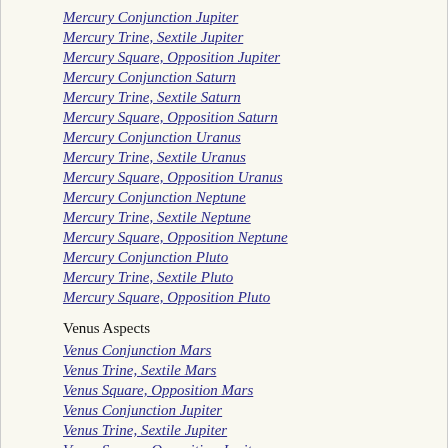Mercury Conjunction Jupiter
Mercury Trine, Sextile Jupiter
Mercury Square, Opposition Jupiter
Mercury Conjunction Saturn
Mercury Trine, Sextile Saturn
Mercury Square, Opposition Saturn
Mercury Conjunction Uranus
Mercury Trine, Sextile Uranus
Mercury Square, Opposition Uranus
Mercury Conjunction Neptune
Mercury Trine, Sextile Neptune
Mercury Square, Opposition Neptune
Mercury Conjunction Pluto
Mercury Trine, Sextile Pluto
Mercury Square, Opposition Pluto
Venus Aspects
Venus Conjunction Mars
Venus Trine, Sextile Mars
Venus Square, Opposition Mars
Venus Conjunction Jupiter
Venus Trine, Sextile Jupiter
Venus Square, Opposition Jupiter
Venus Conjunction Saturn
Venus Trine, Sextile Saturn